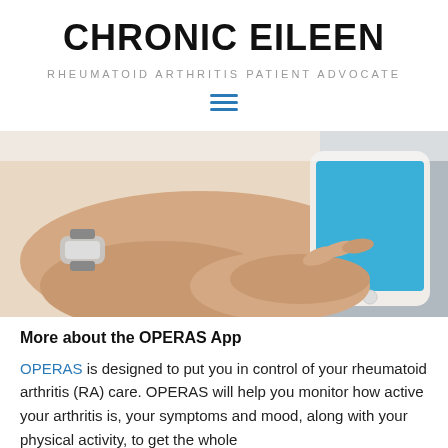CHRONIC EILEEN
RHEUMATOID ARTHRITIS PATIENT ADVOCATE
[Figure (photo): Person holding a smartphone with a blue screen, wearing a watch, using the phone with both hands]
More about the OPERAS App
OPERAS is designed to put you in control of your rheumatoid arthritis (RA) care. OPERAS will help you monitor how active your arthritis is, your symptoms and mood, along with your physical activity, to get the whole